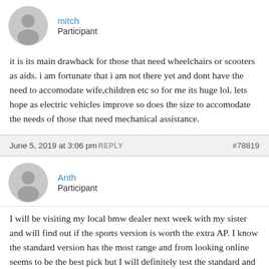[Figure (illustration): Gray default avatar circle with silhouette for user mitch]
mitch
Participant
it is its main drawback for those that need wheelchairs or scooters as aids. i am fortunate that i am not there yet and dont have the need to accomodate wife,children etc so for me its huge lol. lets hope as electric vehicles improve so does the size to accomodate the needs of those that need mechanical assistance.
June 5, 2019 at 3:06 pm  REPLY  #78819
[Figure (illustration): Gray default avatar circle with silhouette for user Anth]
Anth
Participant
I will be visiting my local bmw dealer next week with my sister and will find out if the sports version is worth the extra AP. I know the standard version has the most range and from looking online seems to be the best pick but I will definitely test the standard and the sports versions over the next couple of months and then give